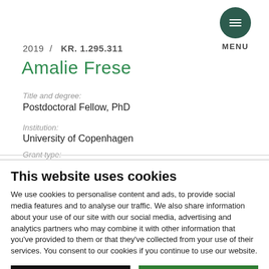2019 / KR. 1.295.311
Amalie Frese
Title and degree:
Postdoctoral Fellow, PhD
Institution:
University of Copenhagen
Grant type:
This website uses cookies
We use cookies to personalise content and ads, to provide social media features and to analyse our traffic. We also share information about your use of our site with our social media, advertising and analytics partners who may combine it with other information that you've provided to them or that they've collected from your use of their services. You consent to our cookies if you continue to use our website.
Use necessary cookies only
Allow all cookies
Settings